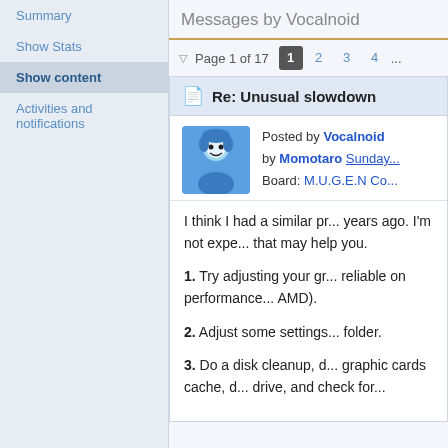Summary
Show Stats
Show content
Activities and notifications
Messages by Vocalnoid
Page 1 of 17  1  2  3  4  ...
Re: Unusual slowdown
Posted by Vocalnoid by Momotaro Sunday... Board: M.U.G.E.N Co...
I think I had a similar pr... years ago. I'm not expe... that may help you.
1. Try adjusting your gr... reliable on performance... AMD).
2. Adjust some settings... folder.
3. Do a disk cleanup, d... graphic cards cache, d... drive, and check for...